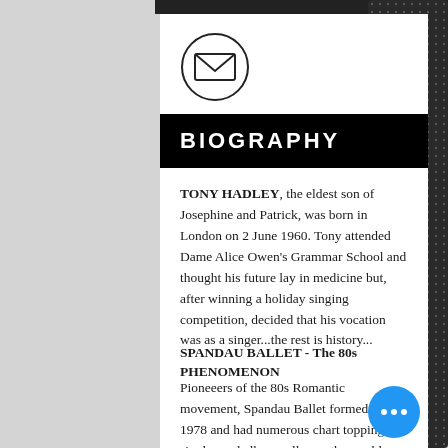[Figure (illustration): Mail/envelope icon inside a circle, on white background]
BIOGRAPHY
TONY HADLEY, the eldest son of Josephine and Patrick, was born in London on 2 June 1960. Tony attended Dame Alice Owen's Grammar School and thought his future lay in medicine but, after winning a holiday singing competition, decided that his vocation was as a singer...the rest is history...
SPANDAU BALLET - The 80s PHENOMENON
Pioneeers of the 80s Romantic movement, Spandau Ballet formed in 1978 and had numerous chart topping singles and albums all over the world, some of the most memorable being the singles 'Gold',